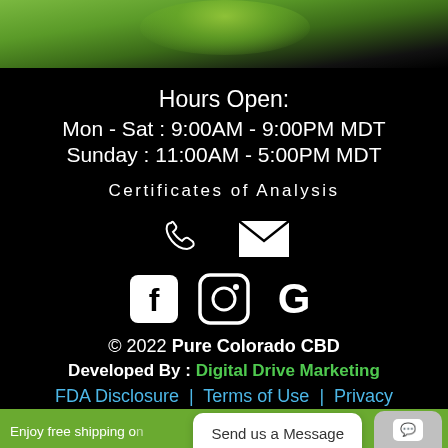[Figure (photo): Top portion showing green leaf/plant image fading to black background]
Hours Open:
Mon - Sat : 9:00AM - 9:00PM MDT
Sunday : 11:00AM - 5:00PM MDT
Certificates of Analysis
[Figure (illustration): Phone icon and email/envelope icon in white]
[Figure (illustration): Facebook, Instagram, and Google social media icons in white]
© 2022 Pure Colorado CBD
Developed By : Digital Drive Marketing
FDA Disclosure | Terms of Use | Privacy
Enjoy free shipping on... Send us a Message